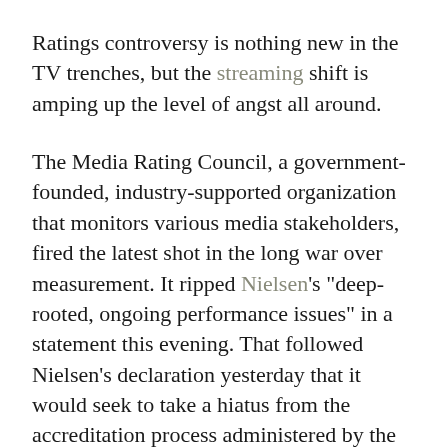Ratings controversy is nothing new in the TV trenches, but the streaming shift is amping up the level of angst all around.
The Media Rating Council, a government-founded, industry-supported organization that monitors various media stakeholders, fired the latest shot in the long war over measurement. It ripped Nielsen’s “deep-rooted, ongoing performance issues” in a statement this evening. That followed Nielsen’s declaration yesterday that it would seek to take a hiatus from the accreditation process administered by the MRC.
“While we remain confident in the integrity of our data and measurement, and fully support the accreditation process administered by the MRC.